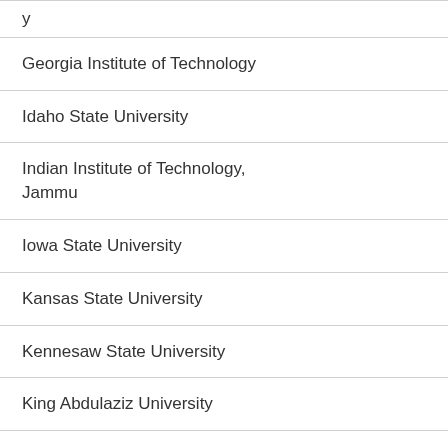| Institution |
| --- |
| Georgia Institute of Technology |
| Idaho State University |
| Indian Institute of Technology, Jammu |
| Iowa State University |
| Kansas State University |
| Kennesaw State University |
| King Abdulaziz University |
| Louisiana State University |
| Massachusetts Institute of Technology |
| Missouri University of Science & Technology |